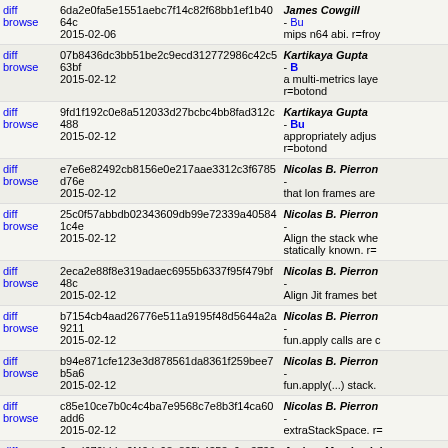| links | commit | author/description |
| --- | --- | --- |
| diff browse | 6da2e0fa5e1551aebc7f14c82f68bb1ef1b4064c 2015-02-06 | James Cowgill - Bu mips n64 abi. r=froy |
| diff browse | 07b8436dc3bb51be2c9ecd312772986c42c563bf 2015-02-12 | Kartikaya Gupta - B a multi-metrics laye r=botond |
| diff browse | 9fd1f192c0e8a512033d27bcbc4bb8fad312c488 2015-02-12 | Kartikaya Gupta - Bu appropriately adjus r=botond |
| diff browse | e7e6e82492cb8156e0e217aae3312c3f6785d76e 2015-02-12 | Nicolas B. Pierron - that lon frames are |
| diff browse | 25c0f57abbdb02343609db99e72339a405841c4e 2015-02-12 | Nicolas B. Pierron - Align the stack whe statically known. r= |
| diff browse | 2eca2e88f8e319adaec6955b6337f95f479bf48c 2015-02-12 | Nicolas B. Pierron - Align Jit frames bet |
| diff browse | b7154cb4aad26776e511a9195f48d5644a2a9211 2015-02-12 | Nicolas B. Pierron - fun.apply calls are c |
| diff browse | b94e871cfe123e3d878561da8361f259bee7b5a6 2015-02-12 | Nicolas B. Pierron - fun.apply(...) stack. |
| diff browse | c85e10ce7b0c4c4ba7e9568c7e8b3f14ca60add6 2015-02-12 | Nicolas B. Pierron - extraStackSpace. r= |
| diff browse | 6aad679bbbc0f40da98a825b4353e6cc3730b906 2015-02-12 | Andrea Marchesini URL.createObjectU workers without pa |
| diff browse | 9d71819980229382900a404d3a7f6ad050288b60 2015-02-12 | Carsten "Tomcat" B 11b4c8d470ab (bug |
| diff browse | 29d8651d00836740a458644dbd8ea3fc5ff5017e 2015-02-12 | Randell Jesup - Bug logging in getUserM |
| diff | f581bbbe990db461cc95a04df3f94dcaca00b556 | Jan de Mooij - Bug |